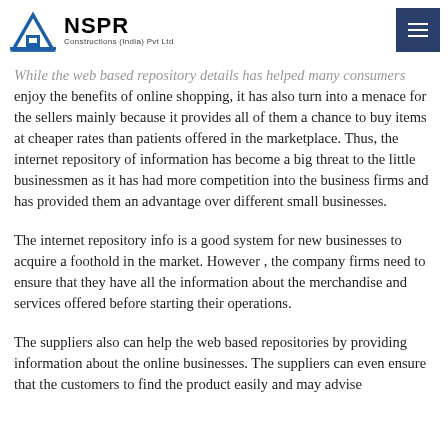NSPR Constructions (India) Pvt Ltd
started offering their products and services throughout the online channel or subscription.
While the web based repository details has helped many consumers enjoy the benefits of online shopping, it has also turn into a menace for the sellers mainly because it provides all of them a chance to buy items at cheaper rates than patients offered in the marketplace. Thus, the internet repository of information has become a big threat to the little businessmen as it has had more competition into the business firms and has provided them an advantage over different small businesses.
The internet repository info is a good system for new businesses to acquire a foothold in the market. However , the company firms need to ensure that they have all the information about the merchandise and services offered before starting their operations.
The suppliers also can help the web based repositories by providing information about the online businesses. The suppliers can even ensure that the customers to find the product easily and may advise